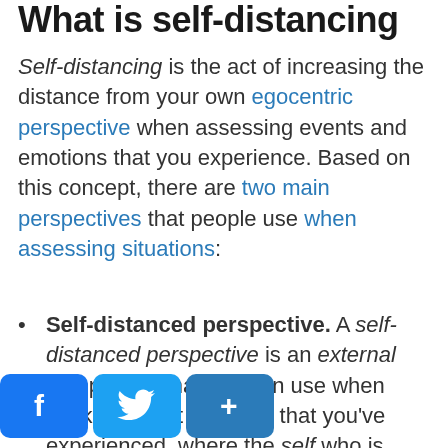What is self-distancing
Self-distancing is the act of increasing the distance from your own egocentric perspective when assessing events and emotions that you experience. Based on this concept, there are two main perspectives that people use when assessing situations:
Self-distanced perspective. A self-distanced perspective is an external perspective that you can use when thinking about an event that you've experienced, where the self who is
[Figure (other): Social share buttons: Facebook (f), Twitter (bird), and a share (+) button, all in blue rounded rectangles]